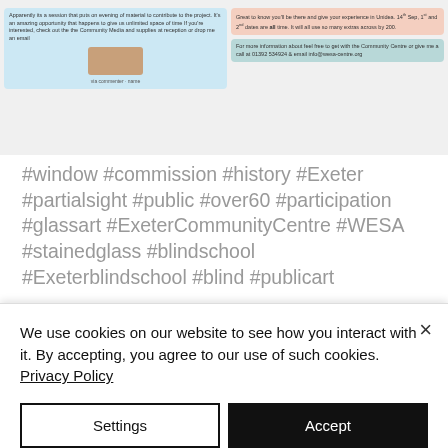[Figure (screenshot): Screenshot of social media posts about a stained glass window commission project involving the Exeter blind school and Community Centre, shown in blue, peach/orange, and teal colored post cards with an avatar image and username.]
#window #commission #history #Exeter #partialsight #public #over60 #participation #glassart #ExeterCommunityCentre #WESA #stainedglass #blindschool #Exeterblindschool #blind #publicart
We use cookies on our website to see how you interact with it. By accepting, you agree to our use of such cookies. Privacy Policy
Settings
Accept